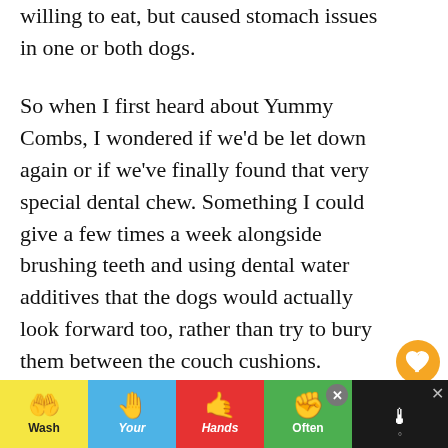willing to eat, but caused stomach issues in one or both dogs.
So when I first heard about Yummy Combs, I wondered if we'd be let down again or if we've finally found that very special dental chew. Something I could give a few times a week alongside brushing teeth and using dental water additives that the dogs would actually look forward too, rather than try to bury them between the couch cushions.
Today I'm excited to share our experience wi...
[Figure (infographic): Advertisement banner: Wash Your Hands Often — colorful hand-washing emoji icons on yellow, blue, red, and green background segments. Partially overlaid by dark panel on the right and close button.]